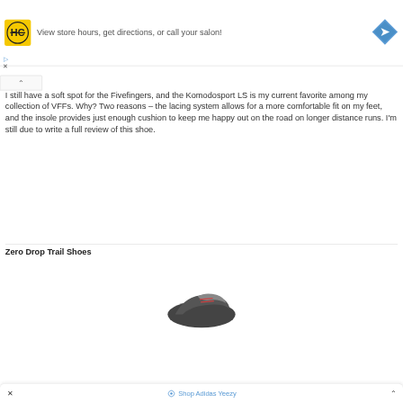[Figure (other): Advertisement banner for Hair Club (HC) showing logo, text 'View store hours, get directions, or call your salon!' and a blue direction arrow icon]
I still have a soft spot for the Fivefingers, and the Komodosport LS is my current favorite among my collection of VFFs. Why? Two reasons – the lacing system allows for a more comfortable fit on my feet, and the insole provides just enough cushion to keep me happy out on the road on longer distance runs. I'm still due to write a full review of this shoe.
Zero Drop Trail Shoes
[Figure (photo): Partial image of a dark grey/black trail running shoe]
× Shop Adidas Yeezy ^